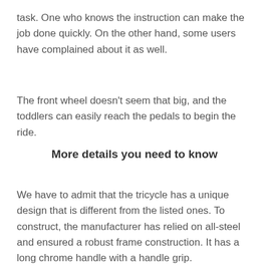task. One who knows the instruction can make the job done quickly. On the other hand, some users have complained about it as well.
The front wheel doesn't seem that big, and the toddlers can easily reach the pedals to begin the ride.
More details you need to know
We have to admit that the tricycle has a unique design that is different from the listed ones. To construct, the manufacturer has relied on all-steel and ensured a robust frame construction. It has a long chrome handle with a handle grip.
The cycle is ideal for kids from 2.5 years to 5 years. And you will have an adjustable seat here to accommodate